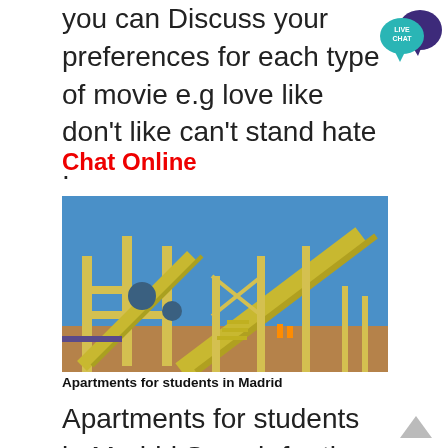you can Discuss your preferences for each type of movie e.g love like don't like can't stand hate .
[Figure (logo): Live Chat speech bubble icon in teal and dark purple]
Chat Online
[Figure (photo): Industrial mining or processing plant with yellow conveyor belts and scaffolding structures under a clear blue sky]
Apartments for students in Madrid
Apartments for students in Madrid Search for the best apartment in